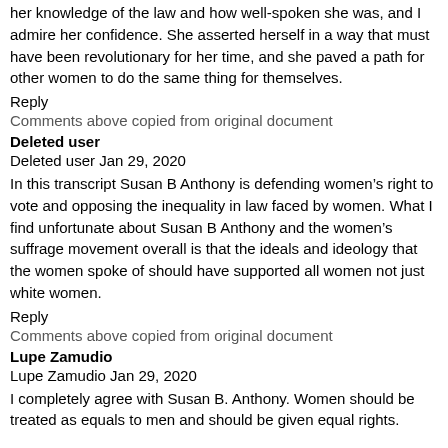her knowledge of the law and how well-spoken she was, and I admire her confidence. She asserted herself in a way that must have been revolutionary for her time, and she paved a path for other women to do the same thing for themselves.
Reply
Comments above copied from original document
Deleted user
Deleted user Jan 29, 2020
In this transcript Susan B Anthony is defending women's right to vote and opposing the inequality in law faced by women. What I find unfortunate about Susan B Anthony and the women's suffrage movement overall is that the ideals and ideology that the women spoke of should have supported all women not just white women.
Reply
Comments above copied from original document
Lupe Zamudio
Lupe Zamudio Jan 29, 2020
I completely agree with Susan B. Anthony. Women should be treated as equals to men and should be given equal rights.